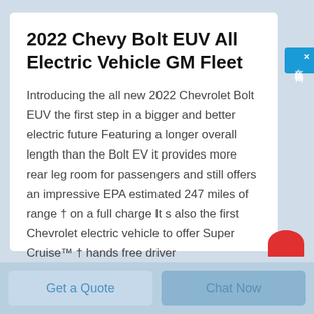2022 Chevy Bolt EUV All Electric Vehicle GM Fleet
Introducing the all new 2022 Chevrolet Bolt EUV the first step in a bigger and better electric future Featuring a longer overall length than the Bolt EV it provides more rear leg room for passengers and still offers an impressive EPA estimated 247 miles of range † on a full charge It s also the first Chevrolet electric vehicle to offer Super Cruise™ † hands free driver
[Figure (other): Blue side widget with Chinese characters 在线咨询 (online consultation) and close X button]
Get a Quote
Chat Now